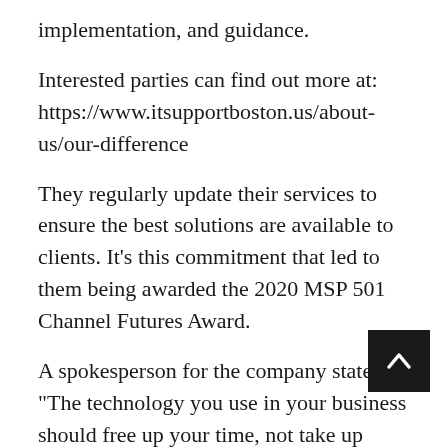implementation, and guidance.
Interested parties can find out more at: https://www.itsupportboston.us/about-us/our-difference
They regularly update their services to ensure the best solutions are available to clients. It’s this commitment that led to them being awarded the 2020 MSP 501 Channel Futures Award.
A spokesperson for the company states: “The technology you use in your business should free up your time, not take up more of it. Unfortunately, that’s exactly what happens when you don’t have adequate managed IT services and IT support in place.”
Those wishing to find out more can visit: